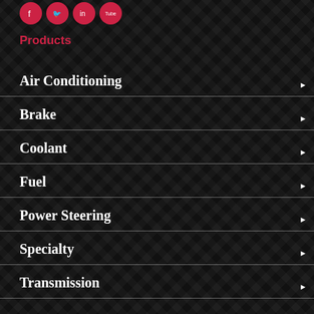[Social media icons: Facebook, Twitter, LinkedIn, YouTube]
Products
Air Conditioning
Brake
Coolant
Fuel
Power Steering
Specialty
Transmission